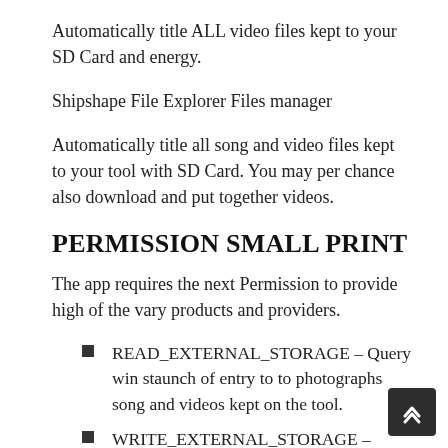Automatically title ALL video files kept to your SD Card and energy.
Shipshape File Explorer Files manager
Automatically title all song and video files kept to your tool with SD Card. You may per chance also download and put together videos.
PERMISSION SMALL PRINT
The app requires the next Permission to provide high of the vary products and providers.
READ_EXTERNAL_STORAGE – Query win staunch of entry to to photographs song and videos kept on the tool.
WRITE_EXTERNAL_STORAGE – Query to